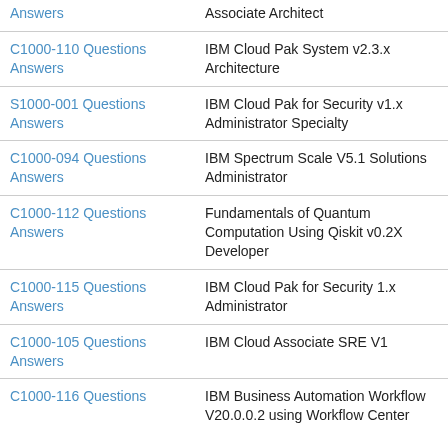| Exam | Description |
| --- | --- |
| Answers | Associate Architect |
| C1000-110 Questions Answers | IBM Cloud Pak System v2.3.x Architecture |
| S1000-001 Questions Answers | IBM Cloud Pak for Security v1.x Administrator Specialty |
| C1000-094 Questions Answers | IBM Spectrum Scale V5.1 Solutions Administrator |
| C1000-112 Questions Answers | Fundamentals of Quantum Computation Using Qiskit v0.2X Developer |
| C1000-115 Questions Answers | IBM Cloud Pak for Security 1.x Administrator |
| C1000-105 Questions Answers | IBM Cloud Associate SRE V1 |
| C1000-116 Questions | IBM Business Automation Workflow V20.0.0.2 using Workflow Center |